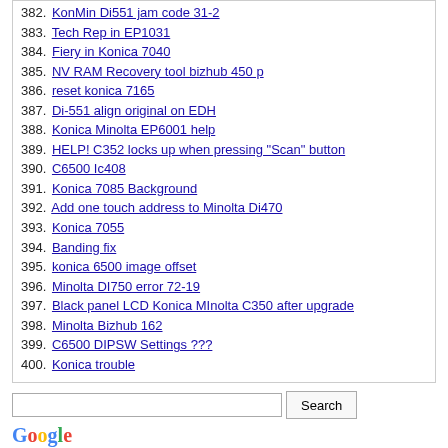382. KonMin Di551 jam code 31-2
383. Tech Rep in EP1031
384. Fiery in Konica 7040
385. NV RAM Recovery tool bizhub 450 p
386. reset konica 7165
387. Di-551 align original on EDH
388. Konica Minolta EP6001 help
389. HELP! C352 locks up when pressing "Scan" button
390. C6500 Ic408
391. Konica 7085 Background
392. Add one touch address to Minolta Di470
393. Konica 7055
394. Banding fix
395. konica 6500 image offset
396. Minolta DI750 error 72-19
397. Black panel LCD Konica MInolta C350 after upgrade
398. Minolta Bizhub 162
399. C6500 DIPSW Settings ???
400. Konica trouble
[Figure (other): Google Custom Search box with search input field and Search button, followed by Google logo and Custom Search text]
Powered by vBulletin® Version 4.2.5 Copyright © 2022 vBulletin Solutions Inc. All rights reserved.